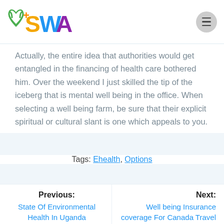SWA logo and navigation menu
Actually, the entire idea that authorities would get entangled in the financing of health care bothered him. Over the weekend I just skilled the tip of the iceberg that is mental well being in the office. When selecting a well being farm, be sure that their explicit spiritual or cultural slant is one which appeals to you.
Tags: Ehealth, Options
Previous: State Of Environmental Health In Uganda | Next: Well being Insurance coverage For Canada Travel